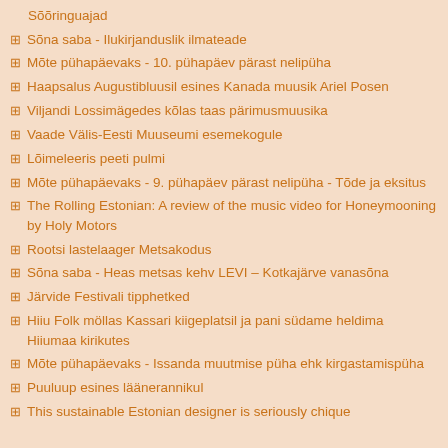Sõõringuajad
Sõna saba - Ilukirjanduslik ilmateade
Mõte pühapäevaks - 10. pühapäev pärast nelipüha
Haapsalus Augustibluusil esines Kanada muusik Ariel Posen
Viljandi Lossimägedes kõlas taas pärimusmuusika
Vaade Välis-Eesti Muuseumi esemekogule
Lõimeleeris peeti pulmi
Mõte pühapäevaks - 9. pühapäev pärast nelipüha - Tõde ja eksitus
The Rolling Estonian: A review of the music video for Honeymooning by Holy Motors
Rootsi lastelaager Metsakodus
Sõna saba - Heas metsas kehv LEVI – Kotkajärve vanasõna
Järvide Festivali tipphetked
Hiiu Folk möllas Kassari kiigeplatsil ja pani südame heldima Hiiumaa kirikutes
Mõte pühapäevaks - Issanda muutmise püha ehk kirgastamispüha
Puuluup esines läänerannikul
This sustainable Estonian designer is seriously chique